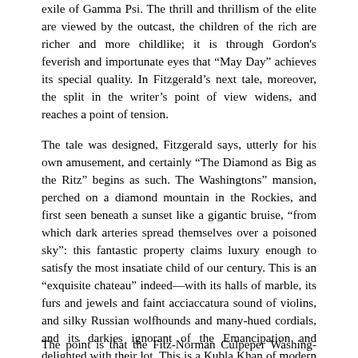exile of Gamma Psi. The thrill and thrillism of the elite are viewed by the outcast, the children of the rich are richer and more childlike; it is through Gordon's feverish and importunate eyes that “May Day” achieves its special quality. In Fitzgerald’s next tale, moreover, the split in the writer’s point of view widens, and reaches a point of tension.
The tale was designed, Fitzgerald says, utterly for his own amusement, and certainly “The Diamond as Big as the Ritz” begins as such. The Washingtons” mansion, perched on a diamond mountain in the Rockies, and first seen beneath a sunset like a gigantic bruise, “from which dark arteries spread themselves over a poisoned sky”: this fantastic property claims luxury enough to satisfy the most insatiate child of our century. This is an “exquisite chateau” indeed—with its halls of marble, its furs and jewels and faint acciaccatura sound of violins, and silky Russian wolfhounds and many-hued cordials, and its darkies ignorant of the Emancipation and delighted with their lot. This is a Kubla Khan of modern materialism complete with automatic baths and pneumatic lifts, barbed-wire fortifications, anti-aircraft guns, and practically painless lethal chambers.
The point is that the Fitz-Norman Culpeper Washing-tons,